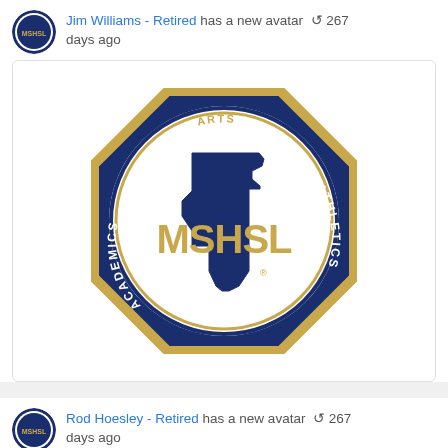Jim Williams - Retired has a new avatar ↺ 267 days ago
[Figure (logo): MSHSL - Minnesota State High School League seal/logo with navy blue and gold colors, octagon border, Minnesota state outline, text: MINNESOTA, ARTS, ATHLETICS, STATE HIGH SCHOOL LEAGUE, ACADEMICS, MSHSL]
Rod Hoesley - Retired has a new avatar ↺ 267 days ago